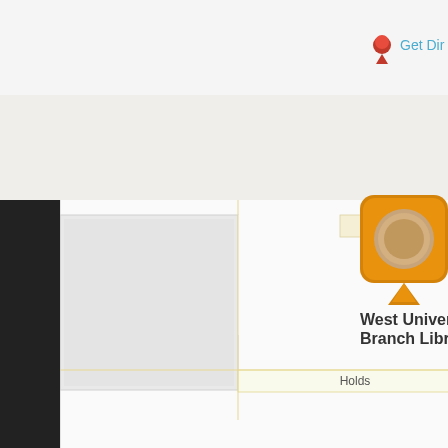[Figure (map): A map screenshot showing a library floor plan / map area with labels for 'Paperbacks', 'Holds', and 'Reference'. A location pin marker labeled 'West University Branch Library' is visible at the top right. A red map pin icon and 'Get Dir...' (Get Directions) link appear at the top right corner of the page.]
Get Dir
Paperbacks
Holds
West University Branch Library
Reference